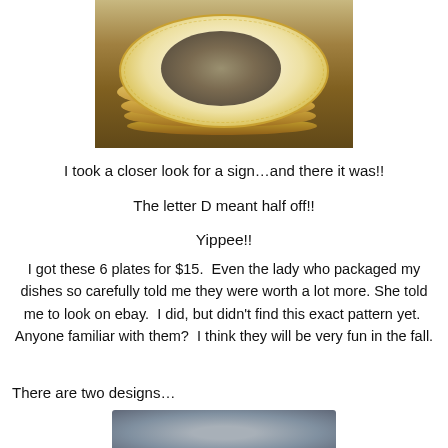[Figure (photo): Stack of decorative plates with gold rims and bird motif in center, viewed from above at an angle]
I took a closer look for a sign…and there it was!!
The letter D meant half off!!
Yippee!!
I got these 6 plates for $15.  Even the lady who packaged my dishes so carefully told me they were worth a lot more.  She told me to look on ebay.  I did, but didn't find this exact pattern yet.  Anyone familiar with them?  I think they will be very fun in the fall.
There are two designs…
[Figure (photo): Close-up partial view of a decorative plate with bird motif]